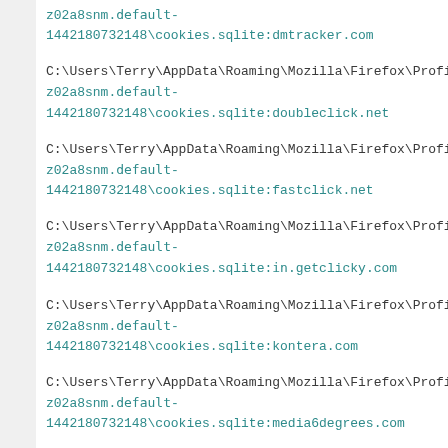z02a8snm.default-1442180732148\cookies.sqlite:dmtracker.com
C:\Users\Terry\AppData\Roaming\Mozilla\Firefox\Profiles\z02a8snm.default-1442180732148\cookies.sqlite:doubleclick.net
C:\Users\Terry\AppData\Roaming\Mozilla\Firefox\Profiles\z02a8snm.default-1442180732148\cookies.sqlite:fastclick.net
C:\Users\Terry\AppData\Roaming\Mozilla\Firefox\Profiles\z02a8snm.default-1442180732148\cookies.sqlite:in.getclicky.com
C:\Users\Terry\AppData\Roaming\Mozilla\Firefox\Profiles\z02a8snm.default-1442180732148\cookies.sqlite:kontera.com
C:\Users\Terry\AppData\Roaming\Mozilla\Firefox\Profiles\z02a8snm.default-1442180732148\cookies.sqlite:media6degrees.com
C:\Users\Terry\AppData\Roaming\Mozilla\Firefox\Profiles\z02a8snm.default-